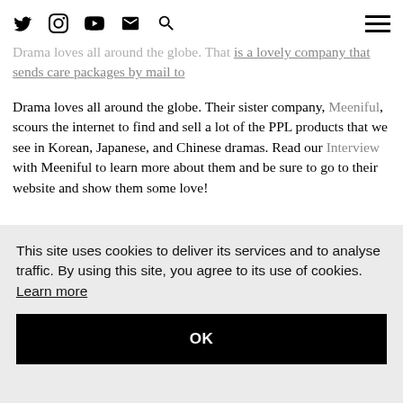[nav icons: Twitter, Instagram, YouTube, Email, Search] [hamburger menu]
Drama loves all around the globe. Their sister company, Meeniful, scours the internet to find and sell a lot of the PPL products that we see in Korean, Japanese, and Chinese dramas. Read our Interview with Meeniful to learn more about them and be sure to go to their website and show them some love!
This site uses cookies to deliver its services and to analyse traffic. By using this site, you agree to its use of cookies. Learn more
OK